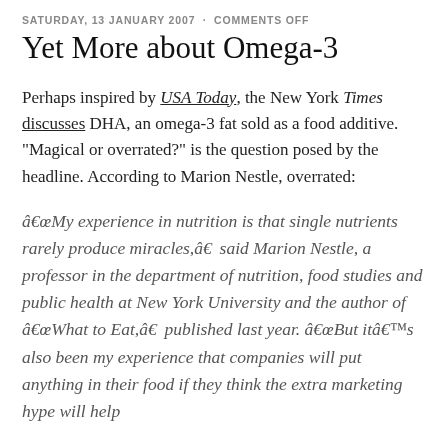SATURDAY, 13 JANUARY 2007 · COMMENTS OFF
Yet More about Omega-3
Perhaps inspired by USA Today, the New York Times discusses DHA, an omega-3 fat sold as a food additive. "Magical or overrated?" is the question posed by the headline. According to Marion Nestle, overrated:
“My experience in nutrition is that single nutrients rarely produce miracles,” said Marion Nestle, a professor in the department of nutrition, food studies and public health at New York University and the author of “What to Eat,” published last year. “But it’s also been my experience that companies will put anything in their food if they think the extra marketing hype will help